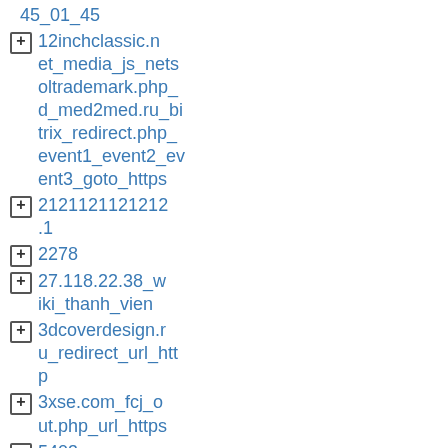45_01_45
12inchclassic.net_media_js_netsoltrademark.php_d_med2med.ru_bitrix_redirect.php_event1_event2_event3_goto_https
2121121121212.1
2278
27.118.22.38_wiki_thanh_vien
3dcoverdesign.ru_redirect_url_http
3xse.com_fcj_out.php_url_https
5403
6272
6646